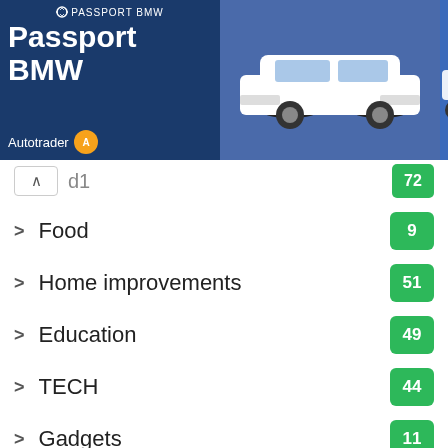[Figure (screenshot): Advertisement banner for Passport BMW on Autotrader featuring a Used 2017 Cadillac XT5 Luxury priced at $26,495 with a View Details button]
▲ (partial category, count: 72)
Food — 9
Home improvements — 51
Education — 49
TECH — 44
Gadgets — 11
[Figure (infographic): Social sharing buttons: Facebook (blue), Twitter (light blue), WhatsApp (green), Telegram (blue), Phone (purple)]